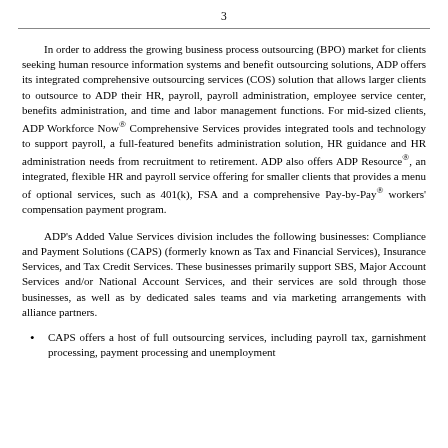3
In order to address the growing business process outsourcing (BPO) market for clients seeking human resource information systems and benefit outsourcing solutions, ADP offers its integrated comprehensive outsourcing services (COS) solution that allows larger clients to outsource to ADP their HR, payroll, payroll administration, employee service center, benefits administration, and time and labor management functions. For mid-sized clients, ADP Workforce Now® Comprehensive Services provides integrated tools and technology to support payroll, a full-featured benefits administration solution, HR guidance and HR administration needs from recruitment to retirement. ADP also offers ADP Resource®, an integrated, flexible HR and payroll service offering for smaller clients that provides a menu of optional services, such as 401(k), FSA and a comprehensive Pay-by-Pay® workers' compensation payment program.
ADP's Added Value Services division includes the following businesses: Compliance and Payment Solutions (CAPS) (formerly known as Tax and Financial Services), Insurance Services, and Tax Credit Services. These businesses primarily support SBS, Major Account Services and/or National Account Services, and their services are sold through those businesses, as well as by dedicated sales teams and via marketing arrangements with alliance partners.
CAPS offers a host of full outsourcing services, including payroll tax, garnishment processing, payment processing and unemployment